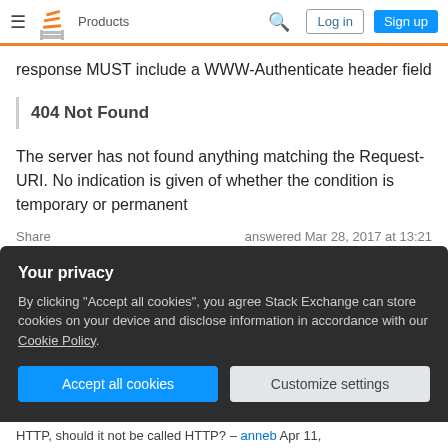≡ [Stack Overflow logo] Products 🔍 Log in Sign up
response MUST include a WWW-Authenticate header field
404 Not Found
The server has not found anything matching the Request-URI. No indication is given of whether the condition is temporary or permanent
Share	answered Mar 28, 2017 at 13:21
Your privacy
By clicking "Accept all cookies", you agree Stack Exchange can store cookies on your device and disclose information in accordance with our Cookie Policy.
Accept all cookies  Customize settings
HTTP, should it not be called HTTP? – anneb Apr 11,